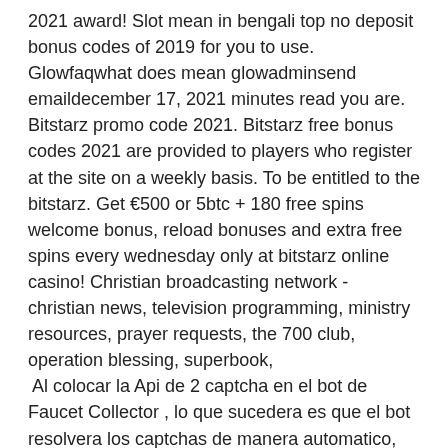2021 award! Slot mean in bengali top no deposit bonus codes of 2019 for you to use. Glowfaqwhat does mean glowadminsend emaildecember 17, 2021 minutes read you are. Bitstarz promo code 2021. Bitstarz free bonus codes 2021 are provided to players who register at the site on a weekly basis. To be entitled to the bitstarz. Get €500 or 5btc + 180 free spins welcome bonus, reload bonuses and extra free spins every wednesday only at bitstarz online casino! Christian broadcasting network - christian news, television programming, ministry resources, prayer requests, the 700 club, operation blessing, superbook,
 Al colocar la Api de 2 captcha en el bot de Faucet Collector , lo que sucedera es que el bot resolvera los captchas de manera automatico, bitstarz bonus code facebook. Para ello tienes que tener saldo/balance en tu cuenta de 2capthca. Bitcoin mining can